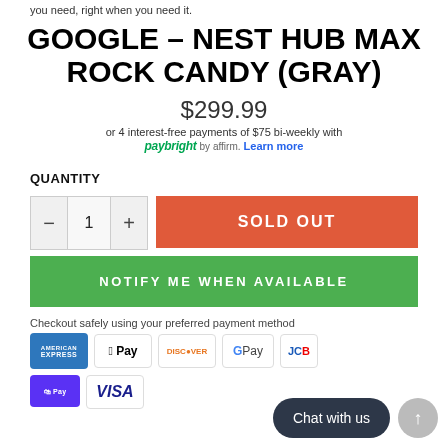you need, right when you need it.
GOOGLE – NEST HUB MAX ROCK CANDY (GRAY)
$299.99
or 4 interest-free payments of $75 bi-weekly with paybright by affirm. Learn more
QUANTITY
SOLD OUT
NOTIFY ME WHEN AVAILABLE
Checkout safely using your preferred payment method
[Figure (other): Payment method icons: American Express, Apple Pay, Discover, Google Pay, JCB, Shopify Pay, Visa]
Chat with us